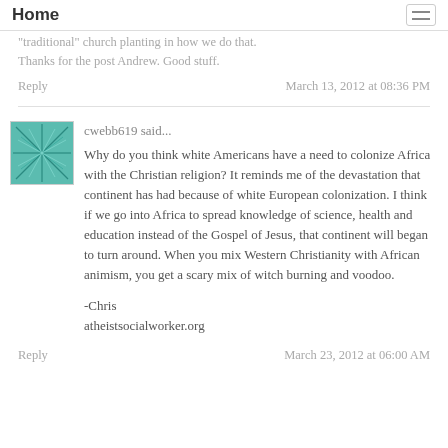Home
"traditional" church planting in how we do that.
Thanks for the post Andrew. Good stuff.
Reply    March 13, 2012 at 08:36 PM
cwebb619 said...
Why do you think white Americans have a need to colonize Africa with the Christian religion? It reminds me of the devastation that continent has had because of white European colonization. I think if we go into Africa to spread knowledge of science, health and education instead of the Gospel of Jesus, that continent will began to turn around. When you mix Western Christianity with African animism, you get a scary mix of witch burning and voodoo.

-Chris
atheistsocialworker.org
Reply    March 23, 2012 at 06:00 AM